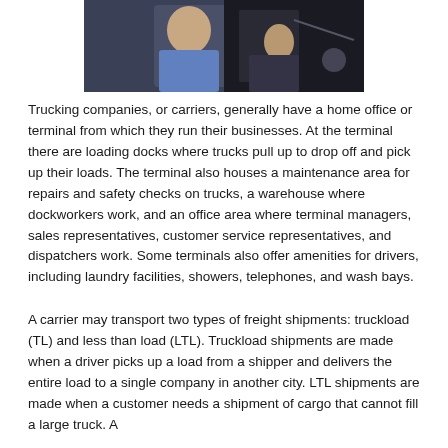[Figure (photo): A truck driver or person in a vehicle cab, wearing a blue shirt, photographed from the side/front in dark interior lighting]
Trucking companies, or carriers, generally have a home office or terminal from which they run their businesses. At the terminal there are loading docks where trucks pull up to drop off and pick up their loads. The terminal also houses a maintenance area for repairs and safety checks on trucks, a warehouse where dockworkers work, and an office area where terminal managers, sales representatives, customer service representatives, and dispatchers work. Some terminals also offer amenities for drivers, including laundry facilities, showers, telephones, and wash bays.
A carrier may transport two types of freight shipments: truckload (TL) and less than load (LTL). Truckload shipments are made when a driver picks up a load from a shipper and delivers the entire load to a single company in another city. LTL shipments are made when a customer needs a shipment of cargo that cannot fill a large truck. A